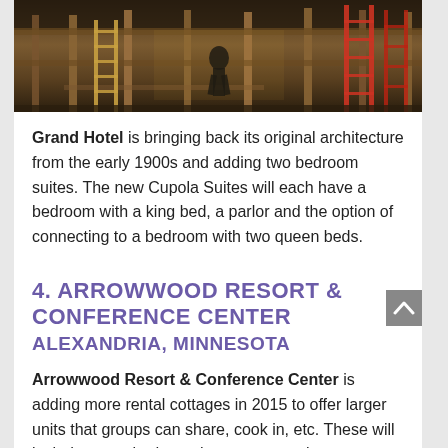[Figure (photo): Construction interior photo showing wooden framing, ladders, and a worker inside a building under renovation]
Grand Hotel is bringing back its original architecture from the early 1900s and adding two bedroom suites. The new Cupola Suites will each have a bedroom with a king bed, a parlor and the option of connecting to a bedroom with two queen beds.
4. ARROWWOOD RESORT & CONFERENCE CENTER
ALEXANDRIA, MINNESOTA
Arrowwood Resort & Conference Center is adding more rental cottages in 2015 to offer larger units that groups can share, cook in, etc. These will include a one-bedroom honeymoon unit, a two-bedroom unit, a four-